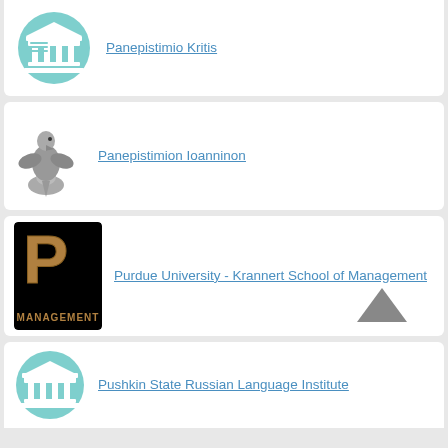[Figure (logo): Generic university building icon on teal circle, partially visible at top]
Panepistimio Kritis
[Figure (logo): Silver eagle figurine logo for Panepistimion Ioanninon]
Panepistimion Ioanninon
[Figure (logo): Purdue University Krannert School of Management logo with gold P on black background]
Purdue University - Krannert School of Management
[Figure (logo): Generic university building icon on teal circle, partially visible at bottom]
Pushkin State Russian Language Institute